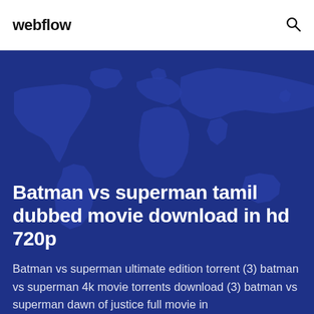webflow
Batman vs superman tamil dubbed movie download in hd 720p
Batman vs superman ultimate edition torrent (3) batman vs superman 4k movie torrents download (3) batman vs superman dawn of justice full movie in